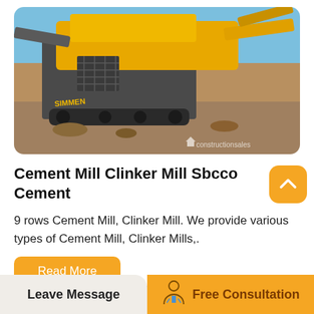[Figure (photo): Large yellow mobile crushing/milling machine on a construction site with blue sky background, watermark reading 'constructionsales' in lower right]
Cement Mill Clinker Mill Sbcco Cement
9 rows Cement Mill, Clinker Mill. We provide various types of Cement Mill, Clinker Mills,.
Read More
[Figure (photo): Partial view of machinery or equipment against blue sky background]
Leave Message
Free Consultation